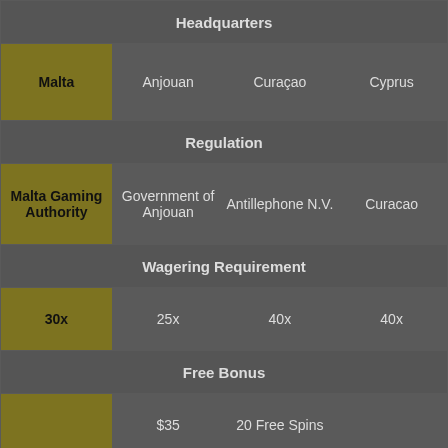| Headquarters |  |  |  |
| --- | --- | --- | --- |
| Malta | Anjouan | Curaçao | Cyprus |
| Regulation |  |  |  |
| Malta Gaming Authority | Government of Anjouan | Antillephone N.V. | Curacao |
| Wagering Requirement |  |  |  |
| 30x | 25x | 40x | 40x |
| Free Bonus |  |  |  |
|  | $35 | 20 Free Spins |  |
| VIP Program |  |  |  |
|  | ✓ | up to 15% cashback | ✓ |
| Mobile App |  |  |  |